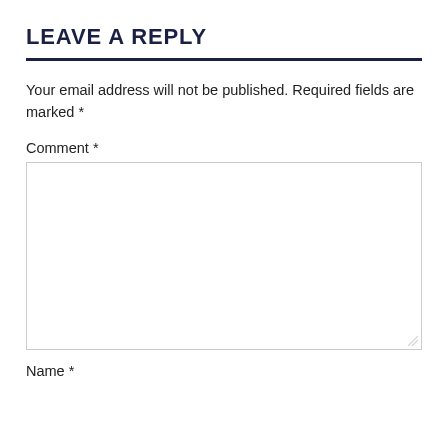LEAVE A REPLY
Your email address will not be published. Required fields are marked *
Comment *
Name *